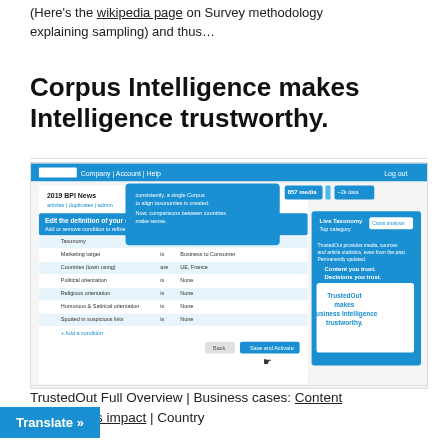(Here's the wikipedia page on Survey methodology explaining sampling) and thus...
Corpus Intelligence makes Intelligence trustworthy.
[Figure (screenshot): Screenshot of TrustedOut web application showing corpus editing interface with taxonomy/filter options, tooltip overlays, and Live Taxonomy panel on the right with branding messages.]
TrustedOut Full Overview | Business cases: Content media metrics impact | Country